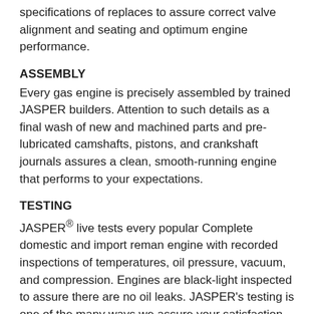specifications of replaces to assure correct valve alignment and seating and optimum engine performance.
ASSEMBLY
Every gas engine is precisely assembled by trained JASPER builders. Attention to such details as a final wash of new and machined parts and pre-lubricated camshafts, pistons, and crankshaft journals assures a clean, smooth-running engine that performs to your expectations.
TESTING
JASPER® live tests every popular Complete domestic and import reman engine with recorded inspections of temperatures, oil pressure, vacuum, and compression. Engines are black-light inspected to assure there are no oil leaks. JASPER's testing is one of the many ways we assure your satisfaction.
QUALITY CONTROL